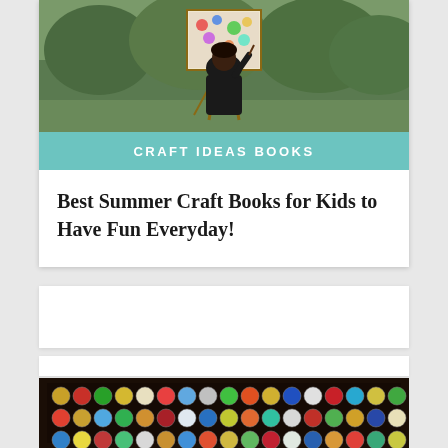[Figure (photo): Person painting at an easel outdoors with colorful artwork]
CRAFT IDEAS BOOKS
Best Summer Craft Books for Kids to Have Fun Everyday!
[Figure (photo): Framed collection of colorful bottle caps arranged in a grid on dark background]